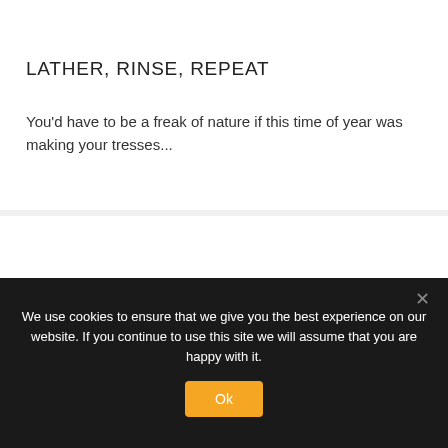LATHER, RINSE, REPEAT
You'd have to be a freak of nature if this time of year was making your tresses...
We use cookies to ensure that we give you the best experience on our website. If you continue to use this site we will assume that you are happy with it.